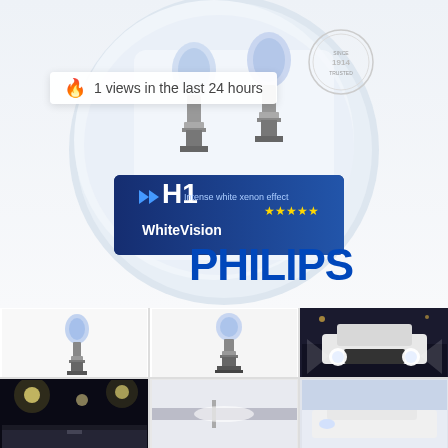[Figure (photo): Philips WhiteVision H1 halogen bulb product package shown in circular display case. Package shows two blue-tinted H1 bulbs. Blue banner label reads 'H1 Intense white xenon effect WhiteVision ★★★★★ PHILIPS'. A circular seal is visible top right. An overlay badge reads '🔥 1 views in the last 24 hours'.]
[Figure (photo): Thumbnail image 1: Single H1 halogen bulb with blue tint on white background]
[Figure (photo): Thumbnail image 2: Single H1 halogen bulb on white background, side view]
[Figure (photo): Thumbnail image 3: White car (Audi) at night with bright headlights]
[Figure (photo): Thumbnail image 4: Night street scene with bright lights]
[Figure (photo): Thumbnail image 5: Close-up of car headlight area]
[Figure (photo): Thumbnail image 6: White car exterior detail]